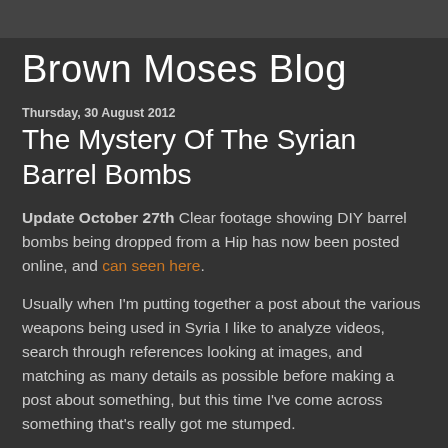Brown Moses Blog
Thursday, 30 August 2012
The Mystery Of The Syrian Barrel Bombs
Update October 27th Clear footage showing DIY barrel bombs being dropped from a Hip has now been posted online, and can seen here.
Usually when I'm putting together a post about the various weapons being used in Syria I like to analyze videos, search through references looking at images, and matching as many details as possible before making a post about something, but this time I've come across something that's really got me stumped.
Just over a week ago two videos were posted from Batbo,